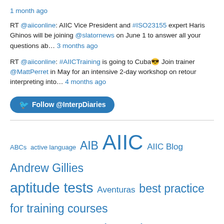1 month ago
RT @aiiconline: AIIC Vice President and #ISO23155 expert Haris Ghinos will be joining @slatornews on June 1 to answer all your questions ab… 3 months ago
RT @aiiconline: #AIICTraining is going to Cuba😎 Join trainer @MattPerret in May for an intensive 2-day workshop on retour interpreting into… 4 months ago
Follow @InterpDiaries
ABCs active language AIB AIIC AIIC Blog Andrew Gillies aptitude tests Aventuras best practice for training courses book review Bootheando budget cuts character traits Communicate! consecutive Cosas de Dos Palabras cultural